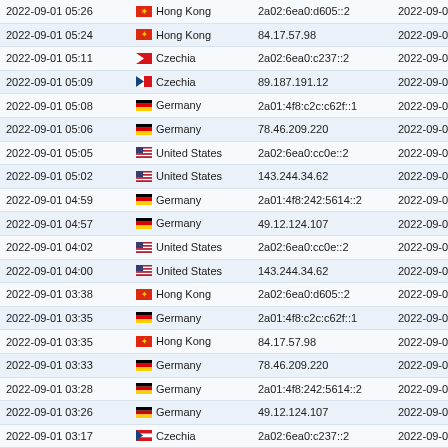| Timestamp | Country | IP Address | End Time |
| --- | --- | --- | --- |
| 2022-09-01 05:26 | Hong Kong | 2a02:6ea0:d605::2 | 2022-09-01 05:24 |
| 2022-09-01 05:24 | Hong Kong | 84.17.57.98 | 2022-09-01 05:22 |
| 2022-09-01 05:11 | Czechia | 2a02:6ea0:c237::2 | 2022-09-01 05:09 |
| 2022-09-01 05:09 | Czechia | 89.187.191.12 | 2022-09-01 05:08 |
| 2022-09-01 05:08 | Germany | 2a01:4f8:c2c:c62f::1 | 2022-09-01 05:07 |
| 2022-09-01 05:06 | Germany | 78.46.209.220 | 2022-09-01 05:04 |
| 2022-09-01 05:05 | United States | 2a02:6ea0:cc0e::2 | 2022-09-01 05:03 |
| 2022-09-01 05:02 | United States | 143.244.34.62 | 2022-09-01 05:00 |
| 2022-09-01 04:59 | Germany | 2a01:4f8:242:5614::2 | 2022-09-01 04:57 |
| 2022-09-01 04:57 | Germany | 49.12.124.107 | 2022-09-01 04:56 |
| 2022-09-01 04:02 | United States | 2a02:6ea0:cc0e::2 | 2022-09-01 04:02 |
| 2022-09-01 04:00 | United States | 143.244.34.62 | 2022-09-01 03:59 |
| 2022-09-01 03:38 | Hong Kong | 2a02:6ea0:d605::2 | 2022-09-01 03:36 |
| 2022-09-01 03:35 | Germany | 2a01:4f8:c2c:c62f::1 | 2022-09-01 03:33 |
| 2022-09-01 03:35 | Hong Kong | 84.17.57.98 | 2022-09-01 03:33 |
| 2022-09-01 03:33 | Germany | 78.46.209.220 | 2022-09-01 03:32 |
| 2022-09-01 03:28 | Germany | 2a01:4f8:242:5614::2 | 2022-09-01 03:28 |
| 2022-09-01 03:26 | Germany | 49.12.124.107 | 2022-09-01 03:24 |
| 2022-09-01 03:17 | Czechia | 2a02:6ea0:c237::2 | 2022-09-01 03:16 |
| 2022-09-01 03:15 | Czechia | 89.187.191.12 | 2022-09-01 03:13 |